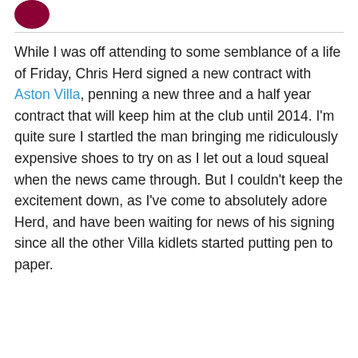[Figure (logo): Circular dark red/maroon logo partially visible at top left]
While I was off attending to some semblance of a life of Friday, Chris Herd signed a new contract with Aston Villa, penning a new three and a half year contract that will keep him at the club until 2014. I'm quite sure I startled the man bringing me ridiculously expensive shoes to try on as I let out a loud squeal when the news came through. But I couldn't keep the excitement down, as I've come to absolutely adore Herd, and have been waiting for news of his signing since all the other Villa kidlets started putting pen to paper.